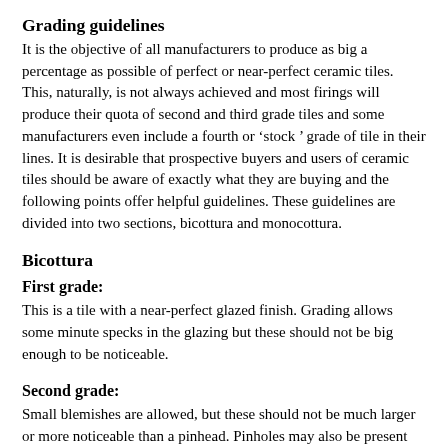Grading guidelines
It is the objective of all manufacturers to produce as big a percentage as possible of perfect or near-perfect ceramic tiles. This, naturally, is not always achieved and most firings will produce their quota of second and third grade tiles and some manufacturers even include a fourth or ‘stock ’ grade of tile in their lines. It is desirable that prospective buyers and users of ceramic tiles should be aware of exactly what they are buying and the following points offer helpful guidelines. These guidelines are divided into two sections, bicottura and monocottura.
Bicottura
First grade:
This is a tile with a near-perfect glazed finish. Grading allows some minute specks in the glazing but these should not be big enough to be noticeable.
Second grade:
Small blemishes are allowed, but these should not be much larger or more noticeable than a pinhead. Pinholes may also be present and in the case of printed patterns on the tile, these might be slightly smudged or irregular. No warping, size difference or chipping should be in evidence and generally speaking, a second grade tile is normally quite acceptable if bought from a reputable supplier. Some shade difference can also occur.